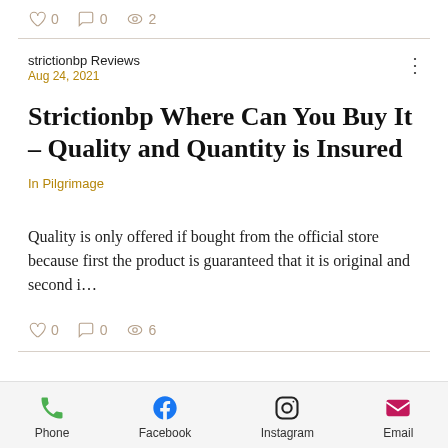0  0  2
strictionbp Reviews
Aug 24, 2021
Strictionbp Where Can You Buy It – Quality and Quantity is Insured
In Pilgrimage
Quality is only offered if bought from the official store because first the product is guaranteed that it is original and second i…
0  0  6
Phone  Facebook  Instagram  Email